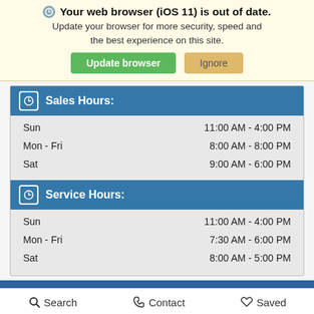Your web browser (iOS 11) is out of date. Update your browser for more security, speed and the best experience on this site.
Update browser | Ignore
Sales Hours:
| Day | Hours |
| --- | --- |
| Sun | 11:00 AM - 4:00 PM |
| Mon - Fri | 8:00 AM - 8:00 PM |
| Sat | 9:00 AM - 6:00 PM |
Service Hours:
| Day | Hours |
| --- | --- |
| Sun | 11:00 AM - 4:00 PM |
| Mon - Fri | 7:30 AM - 6:00 PM |
| Sat | 8:00 AM - 5:00 PM |
Safford Chrysler Jeep Dodge Ram Fiat of
Search   Contact   Saved